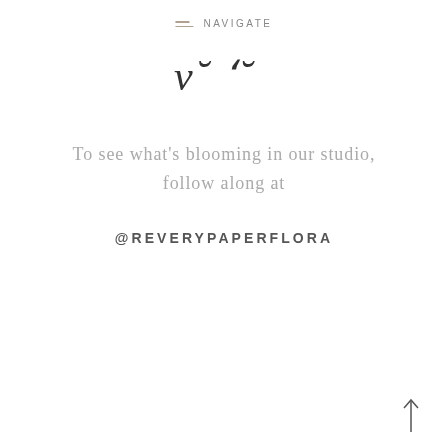NAVIGATE
[Figure (illustration): Stylized script/calligraphic logo marks resembling cursive letters, partially visible]
To see what's blooming in our studio, follow along at
@REVERYPAPERFLORA
[Figure (illustration): Upward pointing arrow in bottom right corner]